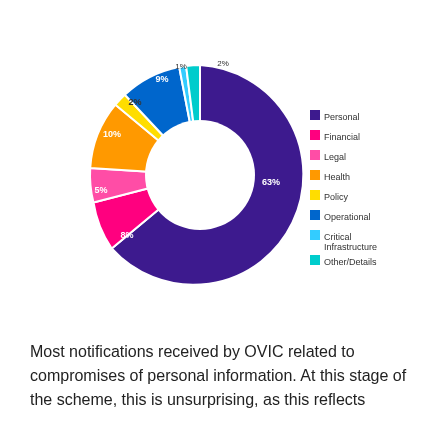[Figure (donut-chart): ]
Most notifications received by OVIC related to compromises of personal information. At this stage of the scheme, this is unsurprising, as this reflects